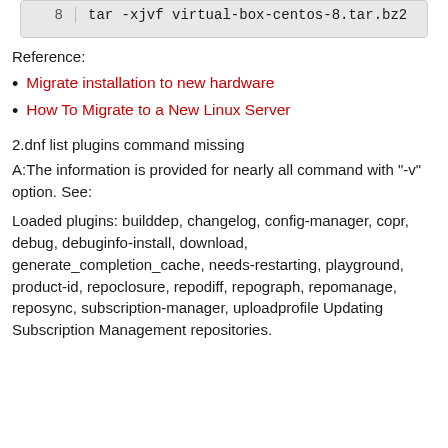[Figure (screenshot): Code block showing line 8 with command: tar -xjvf virtual-box-centos-8.tar.bz2]
Reference:
Migrate installation to new hardware
How To Migrate to a New Linux Server
2.dnf list plugins command missing
A:The information is provided for nearly all command with "-v" option. See:
Loaded plugins: builddep, changelog, config-manager, copr, debug, debuginfo-install, download, generate_completion_cache, needs-restarting, playground, product-id, repoclosure, repodiff, repograph, repomanage, reposync, subscription-manager, uploadprofile Updating Subscription Management repositories.